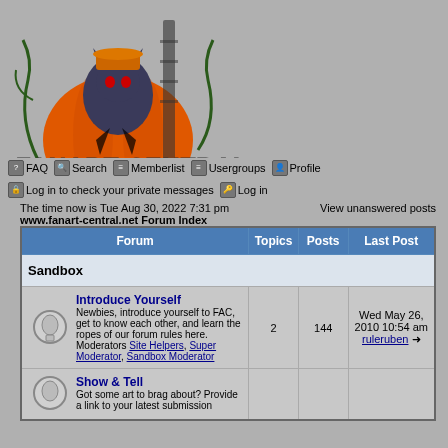[Figure (illustration): Fanart Central logo with Halloween cat in pumpkin illustration and text FANART CENTRAL]
FAQ  Search  Memberlist  Usergroups  Profile  Log in to check your private messages  Log in
The time now is Tue Aug 30, 2022 7:31 pm
www.fanart-central.net Forum Index
View unanswered posts
| Forum | Topics | Posts | Last Post |
| --- | --- | --- | --- |
| Sandbox |  |  |  |
| Introduce Yourself
Newbies, introduce yourself to FAC, get to know each other, and learn the ropes of our forum rules here.
Moderators Site Helpers, Super Moderator, Sandbox Moderator | 2 | 144 | Wed May 26, 2010 10:54 am
ruleruben |
| Show & Tell
Got some art to brag about? Provide a link to your latest submission |  |  |  |